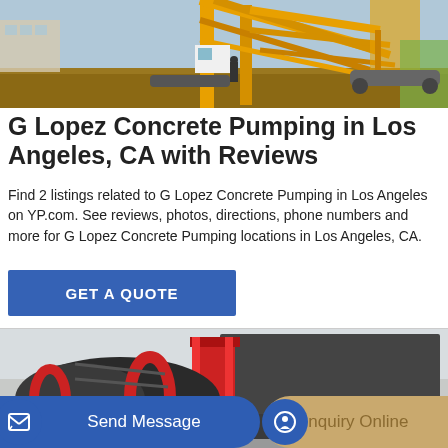[Figure (photo): Yellow concrete pumping machinery/crane structure at a construction site with dirt ground and residential buildings in background]
G Lopez Concrete Pumping in Los Angeles, CA with Reviews
Find 2 listings related to G Lopez Concrete Pumping in Los Angeles on YP.com. See reviews, photos, directions, phone numbers and more for G Lopez Concrete Pumping locations in Los Angeles, CA.
[Figure (other): Blue 'GET A QUOTE' call-to-action button]
[Figure (photo): Concrete mixer truck with red and dark grey drum on a construction site, along with large hopper structure]
[Figure (other): Bottom action bar with 'Send Message' blue button and 'Inquiry Online' tan/gold button with icons]